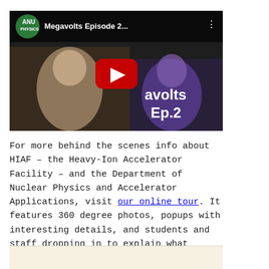[Figure (screenshot): YouTube video thumbnail for 'Megavolts Episode 2...' from ANU Physics channel, showing a play button overlay and two people in the background, with text overlay showing 'avolts Ep.2']
For more behind the scenes info about HIAF – the Heavy-Ion Accelerator Facility – and the Department of Nuclear Physics and Accelerator Applications, visit our online tour. It features 360 degree photos, popups with interesting details, and students and staff dropping in to explain what you're looking at.